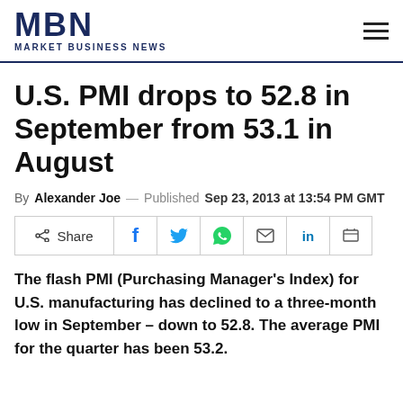MBN MARKET BUSINESS NEWS
U.S. PMI drops to 52.8 in September from 53.1 in August
By Alexander Joe — Published Sep 23, 2013 at 13:54 PM GMT
The flash PMI (Purchasing Manager's Index) for U.S. manufacturing has declined to a three-month low in September – down to 52.8. The average PMI for the quarter has been 53.2.